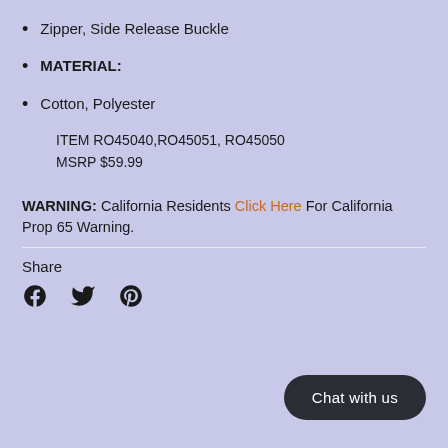Zipper, Side Release Buckle
MATERIAL:
Cotton, Polyester
ITEM RO45040,RO45051, RO45050
MSRP $59.99
WARNING: California Residents Click Here For California Prop 65 Warning.
Share
[Figure (infographic): Social share icons: Facebook, Twitter, Pinterest]
Chat with us